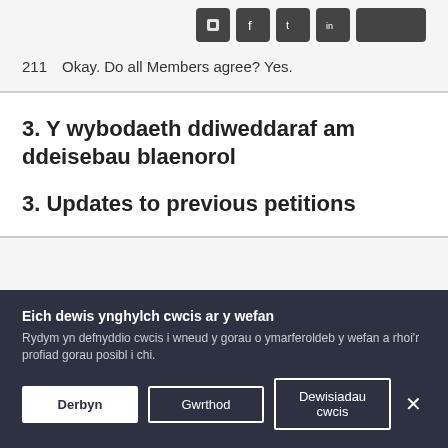[Figure (other): Social media share icons (email, Facebook, Twitter, LinkedIn, and one more) displayed as dark square icon buttons]
211  Okay. Do all Members agree? Yes.
3. Y wybodaeth ddiweddaraf am ddeisebau blaenorol
3. Updates to previous petitions
Eich dewis ynghylch cwcis ar y wefan
Rydym yn defnyddio cwcis i wneud y gorau o ymarferoldeb y wefan a rhoi'r profiad gorau posibl i chi.
Derbyn
Gwrthod
Dewisiadau cwcis